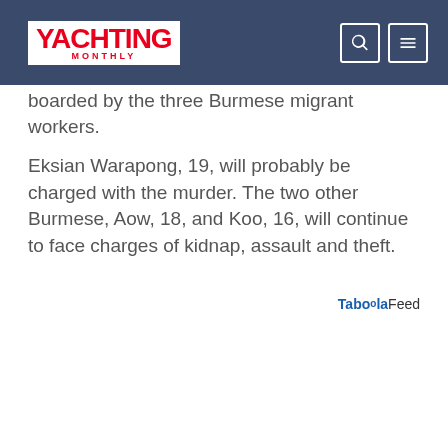Yachting Monthly
boarded by the three Burmese migrant workers.
Eksian Warapong, 19, will probably be charged with the murder. The two other Burmese, Aow, 18, and Koo, 16, will continue to face charges of kidnap, assault and theft.
Taboola Feed
[Figure (photo): Coastal landscape with chalk cliffs, green hills, a sheltered bay with sailboats on turquoise water, and a sandy beach under a blue sky with light clouds.]